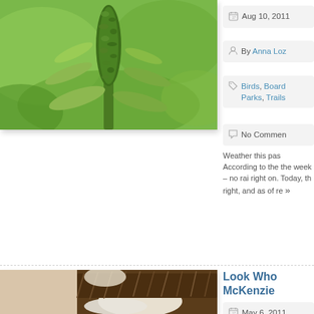[Figure (photo): Close-up photo of a tall green plant spike covered in dense green seeds/buds with broad leaves, against a blurred green background]
Aug 10, 2011
By Anna Loz
Birds, Board Parks, Trails
No Comments
Weather this past According to the the week – no rai right on. Today, th right, and as of re »
Look Who McKenzie
May 6, 2011
[Figure (photo): Close-up photo of an osprey or similar bird of prey with brown and white plumage]